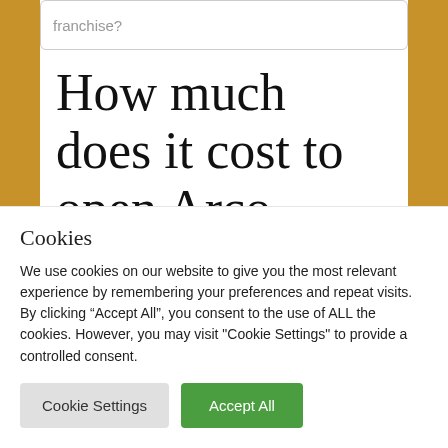franchise?
How much does it cost to open Arco AM/PM Station?
Good news! Arco AM/PM Stations are open for franchising. The financial requirements to open up
Cookies
We use cookies on our website to give you the most relevant experience by remembering your preferences and repeat visits. By clicking “Accept All”, you consent to the use of ALL the cookies. However, you may visit "Cookie Settings" to provide a controlled consent.
Cookie Settings | Accept All